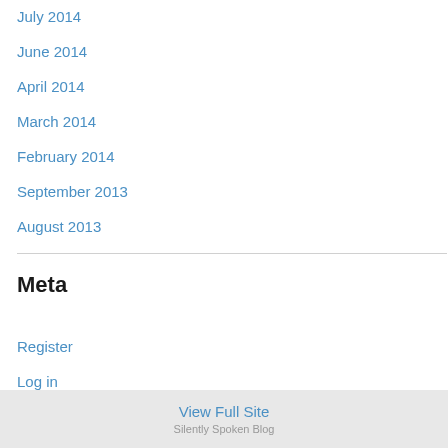July 2014
June 2014
April 2014
March 2014
February 2014
September 2013
August 2013
Meta
Register
Log in
Entries feed
Comments feed
WordPress.com
View Full Site